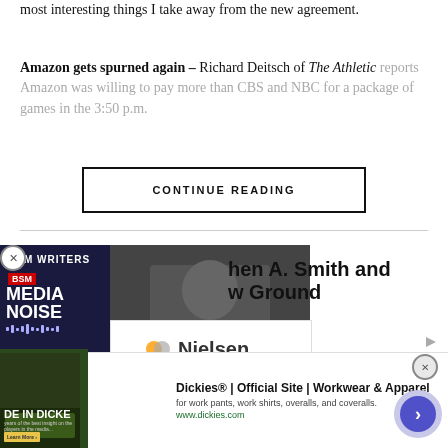most interesting things I take away from the new agreement.
Amazon gets spurned again – Richard Deitsch of The Athletic reports Amazon was willing to pay more than CBS and NBC for a package of games in the 3:50 p.m.
CONTINUE READING
[Figure (screenshot): BSM Writers Media Noise podcast advertisement with dark blue background, person photo, and Nielsen logo overlay]
hen A. Smith and w Ground
[Figure (screenshot): Dickies Official Site Workwear and Apparel advertisement with thumbnail image]